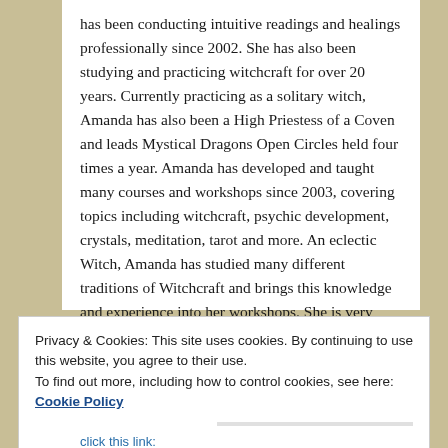has been conducting intuitive readings and healings professionally since 2002. She has also been studying and practicing witchcraft for over 20 years. Currently practicing as a solitary witch, Amanda has also been a High Priestess of a Coven and leads Mystical Dragons Open Circles held four times a year. Amanda has developed and taught many courses and workshops since 2003, covering topics including witchcraft, psychic development, crystals, meditation, tarot and more. An eclectic Witch, Amanda has studied many different traditions of Witchcraft and brings this knowledge and experience into her workshops. She is very passionate about her Craft and truly cares about her students.
Privacy & Cookies: This site uses cookies. By continuing to use this website, you agree to their use.
To find out more, including how to control cookies, see here: Cookie Policy
Close and accept
click this link: https://mysticaldragons.com.au/index.php?